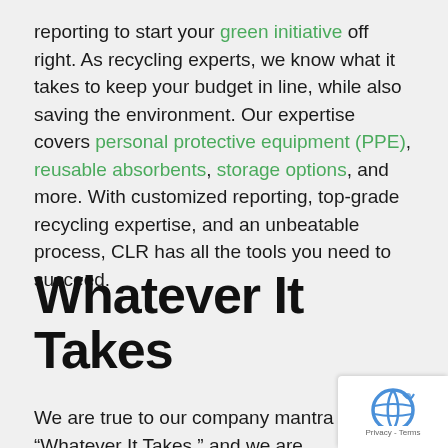reporting to start your green initiative off right. As recycling experts, we know what it takes to keep your budget in line, while also saving the environment. Our expertise covers personal protective equipment (PPE), reusable absorbents, storage options, and more. With customized reporting, top-grade recycling expertise, and an unbeatable process, CLR has all the tools you need to succeed.
Whatever It Takes
We are true to our company mantra “Whatever It Takes,” and we are always here for our custom...